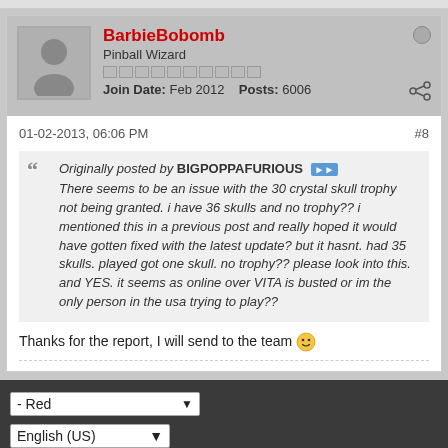BarbieBobomb
Pinball Wizard
Join Date: Feb 2012   Posts: 6006
01-02-2013, 06:06 PM
#8
Originally posted by BIGPOPPAFURIOUS
There seems to be an issue with the 30 crystal skull trophy not being granted. i have 36 skulls and no trophy?? i mentioned this in a previous post and really hoped it would have gotten fixed with the latest update? but it hasnt. had 35 skulls. played got one skull. no trophy?? please look into this. and YES. it seems as online over VITA is busted or im the only person in the usa trying to play??
Thanks for the report, I will send to the team 🙂